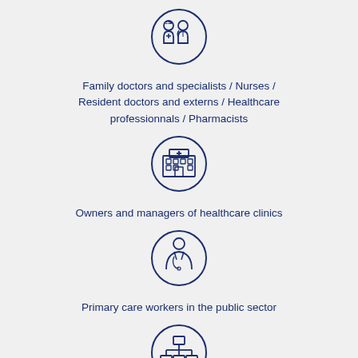[Figure (illustration): Circle icon with two medical professionals (doctor and nurse) in dark blue outline]
Family doctors and specialists / Nurses / Resident doctors and externs / Healthcare professionnals / Pharmacists
[Figure (illustration): Circle icon with a hospital building with a cross symbol in dark blue outline]
Owners and managers of healthcare clinics
[Figure (illustration): Circle icon with a single healthcare professional figure in dark blue outline]
Primary care workers in the public sector
[Figure (illustration): Circle icon with a network/hierarchy diagram in dark blue outline]